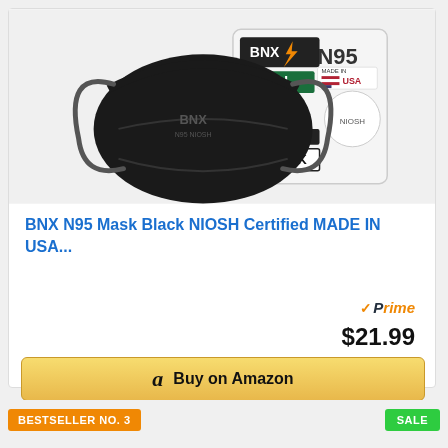[Figure (photo): BNX N95 black face mask product photo with packaging showing BNX logo, N95, Made in USA, NIOSH, 10-PACK labels]
BNX N95 Mask Black NIOSH Certified MADE IN USA...
Prime $21.99
Buy on Amazon
BESTSELLER NO. 3
SALE